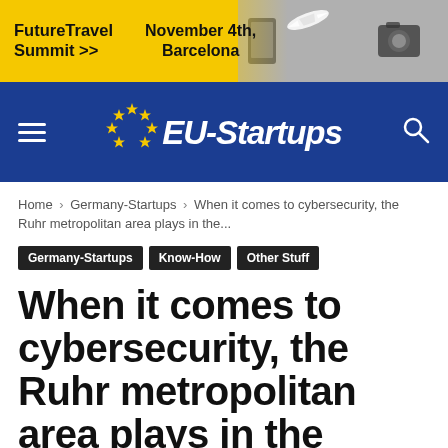[Figure (infographic): Yellow advertisement banner for FutureTravel Summit with text 'FutureTravel Summit >>' and 'November 4th, Barcelona', with a grayscale photo of travel items on the right side]
EU-Startups navigation bar with hamburger menu, EU-Startups logo with EU stars, and search icon
Home › Germany-Startups › When it comes to cybersecurity, the Ruhr metropolitan area plays in the...
Germany-Startups
Know-How
Other Stuff
When it comes to cybersecurity, the Ruhr metropolitan area plays in the Champions League (Sponsored)